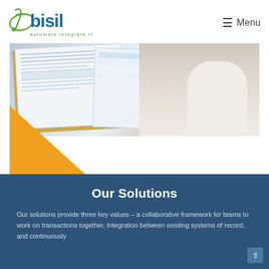[Figure (logo): BISIL logo with musical note/infinity symbol in green, blue letters 'bisil', tagline 'automate integrate transform']
≡ Menu
[Figure (photo): Overhead view of hands working on documents/spreadsheets on a clipboard, with an orange triangle graphic element in the lower-left corner]
Our Solutions
Our solutions provide three key values – a collaborative framework for teams to work on transactions together, Integration between existing systems of record, and continuously